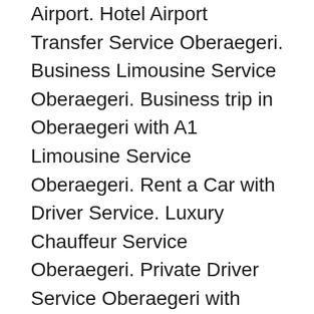Airport. Hotel Airport Transfer Service Oberaegeri. Business Limousine Service Oberaegeri. Business trip in Oberaegeri with A1 Limousine Service Oberaegeri. Rent a Car with Driver Service. Luxury Chauffeur Service Oberaegeri. Private Driver Service Oberaegeri with deluxe Car. Limousine Transport Service for; Business, Congress, Seminar, Conference, Forum, Symposium, Meeting, Festival, Event and Holiday with Oberaegeri Limousine Service. Personal attendant and escort of VIP by the A1 Limousine Travel Services. Oberaegeri Limousine Travel Service for a comfortable journey. A1 Limousine Service Oberaegeri escorts business partners, VIPs, CIPs, private individuals and, representatives from the worlds of politics, economics, culture and sport discreetly. A1 Limousine Service is your VIP Driver and VIP Chauffeur Service in Oberaegeri. Limousine Service Oberaegeri, the service